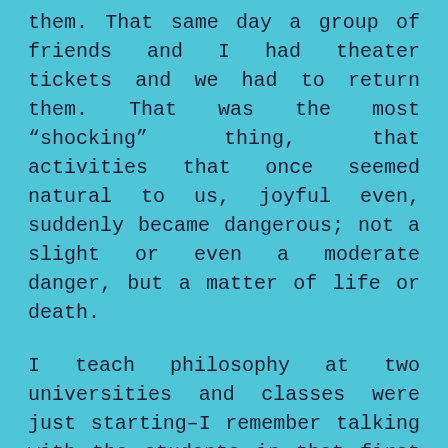them. That same day a group of friends and I had theater tickets and we had to return them. That was the most “shocking” thing, that activities that once seemed natural to us, joyful even, suddenly became dangerous; not a slight or even a moderate danger, but a matter of life or death.
I teach philosophy at two universities and classes were just starting–I remember talking with the students in that first face-to-face class, which was also my last. The government decided to offer the classes virtually and I, partly because of my age and partly because of my resistance to technology, decided to hand off my teaching responsibilities to the adjuncts in